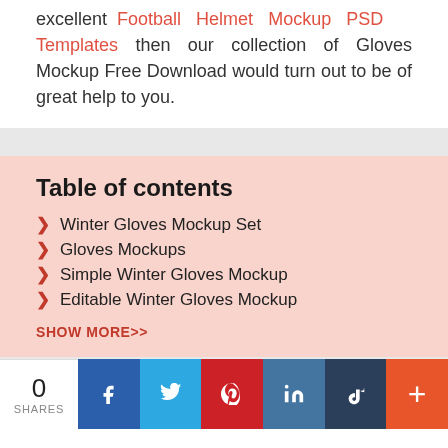excellent Football Helmet Mockup PSD Templates then our collection of Gloves Mockup Free Download would turn out to be of great help to you.
Winter Gloves Mockup Set
Gloves Mockups
Simple Winter Gloves Mockup
Editable Winter Gloves Mockup
SHOW MORE>>